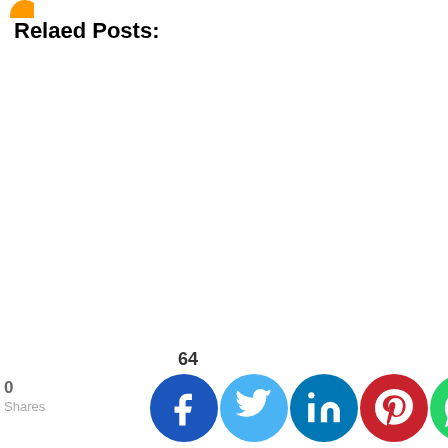Relaed Posts:
0 Shares
64
[Figure (infographic): Social media share buttons row: Facebook (blue circle with f), Twitter (light blue circle with bird), LinkedIn (dark blue circle with in), Pinterest (red circle with P), WhatsApp (green circle with phone), Instagram (gradient circle with camera icon)]